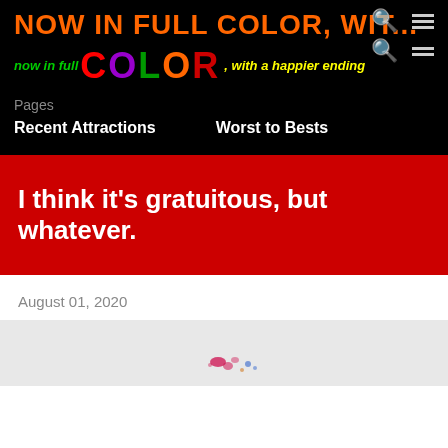NOW IN FULL COLOR, WIT...
now in full COLOR, with a happier ending
Pages
Recent Attractions
Worst to Bests
I think it's gratuitous, but whatever.
August 01, 2020
[Figure (photo): Partial image of a light grey/white surface with small colorful paint marks or dots near the center bottom]